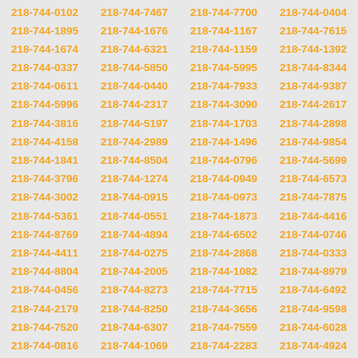218-744-0102 218-744-7467 218-744-7700 218-744-0404 218-744-1895 218-744-1676 218-744-1167 218-744-7615 218-744-1674 218-744-6321 218-744-1159 218-744-1392 218-744-0337 218-744-5850 218-744-5995 218-744-8344 218-744-0611 218-744-0440 218-744-7933 218-744-9387 218-744-5996 218-744-2317 218-744-3090 218-744-2617 218-744-3816 218-744-5197 218-744-1703 218-744-2898 218-744-4158 218-744-2989 218-744-1496 218-744-9854 218-744-1841 218-744-8504 218-744-0796 218-744-5699 218-744-3796 218-744-1274 218-744-0949 218-744-6573 218-744-3002 218-744-0915 218-744-0973 218-744-7875 218-744-5361 218-744-0551 218-744-1873 218-744-4416 218-744-8769 218-744-4894 218-744-6502 218-744-0746 218-744-4411 218-744-0275 218-744-2868 218-744-0333 218-744-8804 218-744-2005 218-744-1082 218-744-8979 218-744-0456 218-744-8273 218-744-7715 218-744-6492 218-744-2179 218-744-8250 218-744-3656 218-744-9598 218-744-7520 218-744-6307 218-744-7559 218-744-6028 218-744-0816 218-744-1069 218-744-2283 218-744-4924 218-744-4887 218-744-4504 218-744-3794 218-744-8508 218-744-1953 218-744-3038 218-744-9706 218-744-9047 218-744-4764 218-744-0903 218-744-2077 218-744-3535 218-744-9909 218-744-5174 218-744-2164 218-744-1903 218-744-9479 218-744-1700 218-744-5033 218-744-5086 218-744-7306 218-744-3964 218-744-3433 218-744-6346 218-744-1638 218-744-6679 218-744-2792 218-744-6349 218-744-2992 218-744-4659 218-744-5178 218-744-7161 218-744-1184 218-744-6618 218-744-8526 218-744-8429 218-744-4219 218-744-5293 218-744-1160 218-744-3550 218-744-4664 218-744-9921 218-744-4313 218-744-0842 218-744-3760 218-744-0462 218-744-3188 218-744-5307